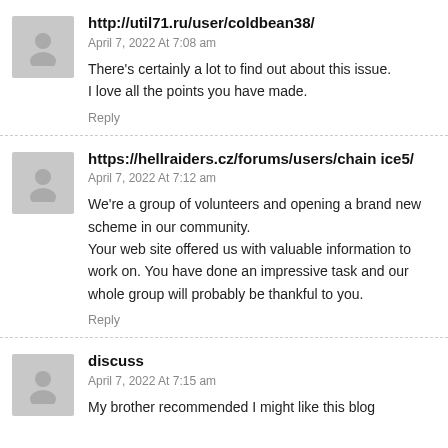http://util71.ru/user/coldbean38/
April 7, 2022 At 7:08 am
There's certainly a lot to find out about this issue.
I love all the points you have made.
Reply
https://hellraiders.cz/forums/users/chainice5/
April 7, 2022 At 7:12 am
We're a group of volunteers and opening a brand new scheme in our community. Your web site offered us with valuable information to work on. You have done an impressive task and our whole group will probably be thankful to you.
Reply
discuss
April 7, 2022 At 7:15 am
My brother recommended I might like this blog